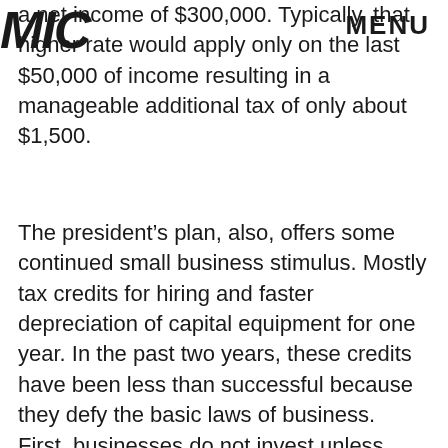MIC MENU
a net income of $300,000. Typically, that higher rate would apply only on the last $50,000 of income resulting in a manageable additional tax of only about $1,500.
The president’s plan, also, offers some continued small business stimulus. Mostly tax credits for hiring and faster depreciation of capital equipment for one year. In the past two years, these credits have been less than successful because they defy the basic laws of business. First, businesses do not invest unless they have demand that exceeds capacity. Second, there must be reasonable degree of certainty that the increased demand can be sustained.